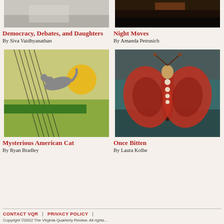[Figure (photo): Abstract/artistic image for Democracy Debates and Daughters article]
Democracy, Debates, and Daughters
By Siva Vaidhyanathan
[Figure (photo): Dark nighttime photo for Night Moves article]
Night Moves
By Amanda Petrusich
[Figure (illustration): Collage illustration of a cat leaping toward a yellow sun with musical staff lines, green foliage background]
Mysterious American Cat
By Ryan Bradley
[Figure (illustration): Decorative illustration of a moth/insect with skull patterns on its wings, red and teal coloring]
Once Bitten
By Laura Kolbe
CONTACT VQR  |  PRIVACY POLICY  |
Copyright ©2022 The Virginia Quarterly Review. All rights...